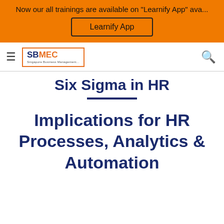Now our all trainings are available on "Learnify App" ava...
Learnify App
[Figure (logo): SBMEC logo with orange border]
Six Sigma in HR
Implications for HR Processes, Analytics & Automation